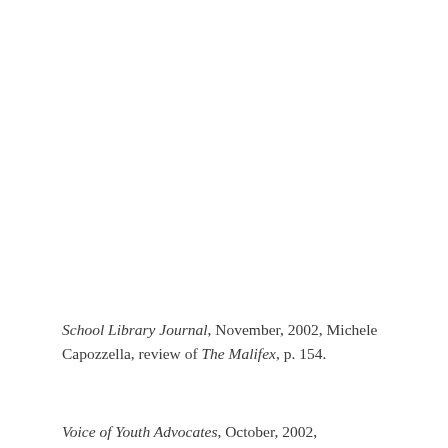School Library Journal, November, 2002, Michele Capozzella, review of The Malifex, p. 154.
Voice of Youth Advocates, October, 2002,